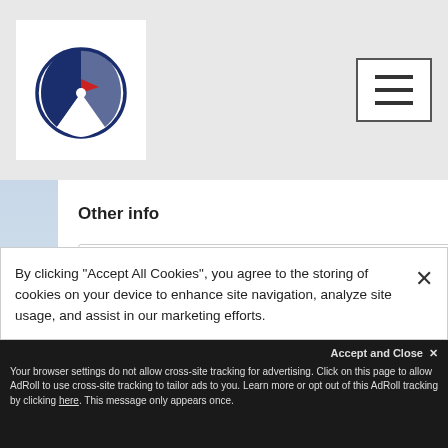[Figure (logo): Circular bird/compass logo in navy blue and red on white background]
[Figure (other): Hamburger menu button (three horizontal lines) with square border]
[Figure (photo): Snowy mountain landscape background]
Other info
Reservation info, First day of ski
Snowboards
By clicking "Accept All Cookies", you agree to the storing of cookies on your device to enhance site navigation, analyze site usage, and assist in our marketing efforts.
Accept and Close ×
Your browser settings do not allow cross-site tracking for advertising. Click on this page to allow AdRoll to use cross-site tracking to tailor ads to you. Learn more or opt out of this AdRoll tracking by clicking here. This message only appears once.